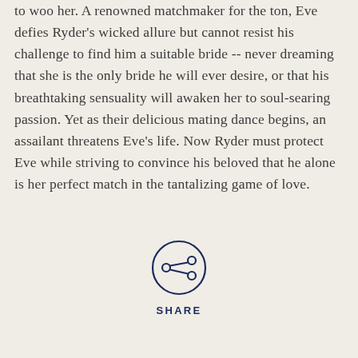to woo her. A renowned matchmaker for the ton, Eve defies Ryder's wicked allure but cannot resist his challenge to find him a suitable bride -- never dreaming that she is the only bride he will ever desire, or that his breathtaking sensuality will awaken her to soul-searing passion. Yet as their delicious mating dance begins, an assailant threatens Eve's life. Now Ryder must protect Eve while striving to convince his beloved that he alone is her perfect match in the tantalizing game of love.
[Figure (other): A circular share button icon with a share/network symbol (three connected dots) in navy blue, with the word SHARE in bold navy uppercase letters beneath it.]